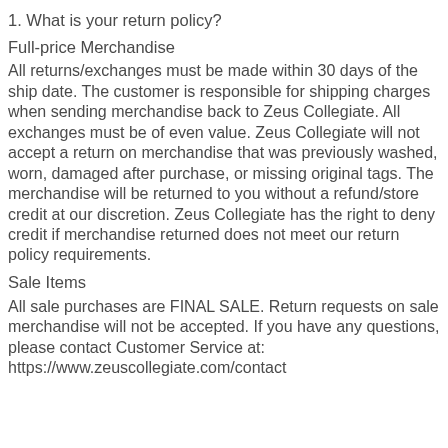1. What is your return policy?
Full-price Merchandise
All returns/exchanges must be made within 30 days of the ship date. The customer is responsible for shipping charges when sending merchandise back to Zeus Collegiate. All exchanges must be of even value. Zeus Collegiate will not accept a return on merchandise that was previously washed, worn, damaged after purchase, or missing original tags. The merchandise will be returned to you without a refund/store credit at our discretion. Zeus Collegiate has the right to deny credit if merchandise returned does not meet our return policy requirements.
Sale Items
All sale purchases are FINAL SALE. Return requests on sale merchandise will not be accepted. If you have any questions, please contact Customer Service at: https://www.zeuscollegiate.com/contact